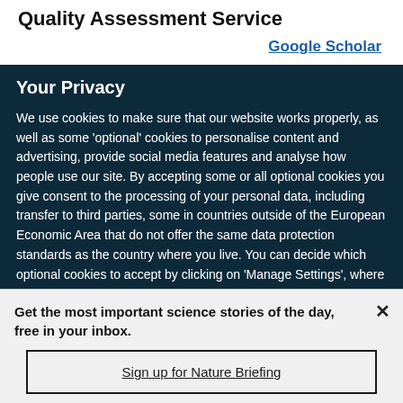Quality Assessment Service
Google Scholar
Your Privacy
We use cookies to make sure that our website works properly, as well as some ‘optional’ cookies to personalise content and advertising, provide social media features and analyse how people use our site. By accepting some or all optional cookies you give consent to the processing of your personal data, including transfer to third parties, some in countries outside of the European Economic Area that do not offer the same data protection standards as the country where you live. You can decide which optional cookies to accept by clicking on ‘Manage Settings’, where you can
Get the most important science stories of the day, free in your inbox.
Sign up for Nature Briefing